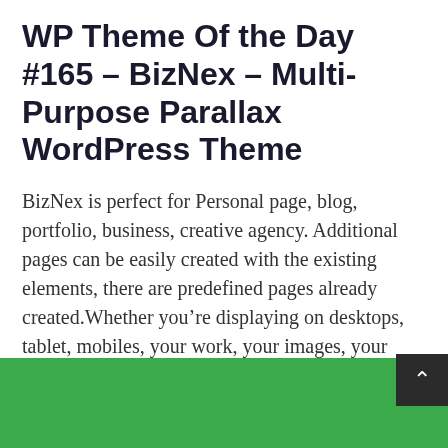WP Theme Of the Day #165 – BizNex – Multi-Purpose Parallax WordPress Theme
BizNex is perfect for Personal page, blog, portfolio, business, creative agency. Additional pages can be easily created with the existing elements, there are predefined pages already created.Whether you're displaying on desktops, tablet, mobiles, your work, your images, your products will always look …
Continue reading...
[Figure (other): Green footer banner with a dark back-to-top arrow button in the bottom-right corner, and partial white logo text visible at the bottom.]